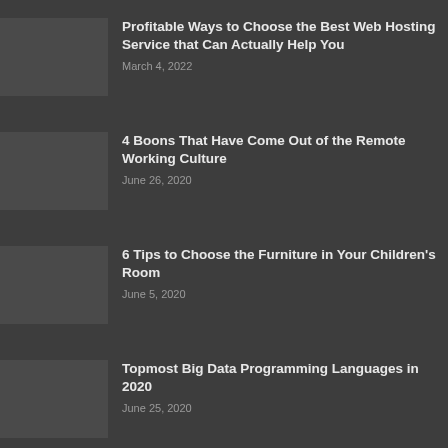Profitable Ways to Choose the Best Web Hosting Service that Can Actually Help You
March 4, 2022
4 Boons That Have Come Out of the Remote Working Culture
June 26, 2020
6 Tips to Choose the Furniture in Your Children's Room
June 5, 2020
Topmost Big Data Programming Languages in 2020
June 25, 2020
The Benefits Of Small Business IT Support Services